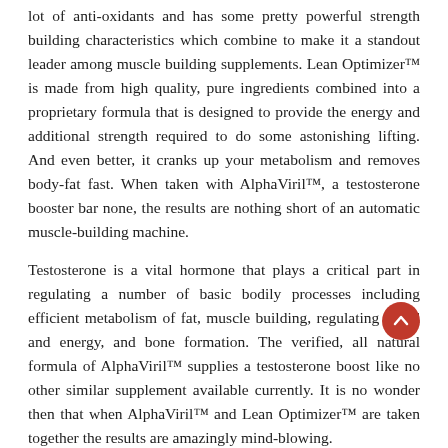lot of anti-oxidants and has some pretty powerful strength building characteristics which combine to make it a standout leader among muscle building supplements. Lean Optimizer™ is made from high quality, pure ingredients combined into a proprietary formula that is designed to provide the energy and additional strength required to do some astonishing lifting. And even better, it cranks up your metabolism and removes body-fat fast. When taken with AlphaViril™, a testosterone booster bar none, the results are nothing short of an automatic muscle-building machine.
Testosterone is a vital hormone that plays a critical part in regulating a number of basic bodily processes including efficient metabolism of fat, muscle building, regulating mood and energy, and bone formation. The verified, all natural formula of AlphaViril™ supplies a testosterone boost like no other similar supplement available currently. It is no wonder then that when AlphaViril™ and Lean Optimizer™ are taken together the results are amazingly mind-blowing.
However, one certainly understands if you are a tad unsure because, to be perfectly honest, so was our team. Everything about this muscle building/fat-burning combination definitely shouted 'fad' to us when we first learnt about it. Yet despite the fact that our 'it's just a fad' radar was shouting loudly at us the significant number of success stories just kept